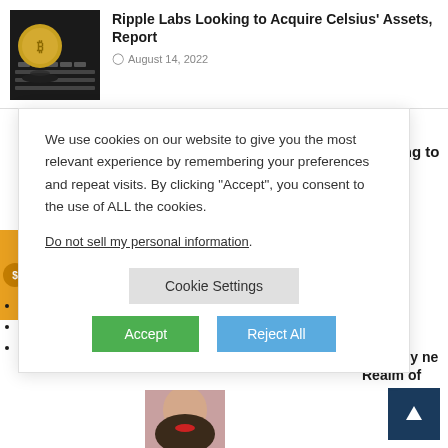[Figure (photo): Thumbnail image of a Bitcoin coin on a keyboard, dark background]
Ripple Labs Looking to Acquire Celsius' Assets, Report
August 14, 2022
We use cookies on our website to give you the most relevant experience by remembering your preferences and repeat visits. By clicking “Accept”, you consent to the use of ALL the cookies.
Do not sell my personal information.
Cookie Settings
Accept
Reject All
BTC Heading to
; SEC’s Strategy
he Realm of
Jasper - The Real Deal!
[Figure (photo): Partial thumbnail of a person with red lips, bottom of page]